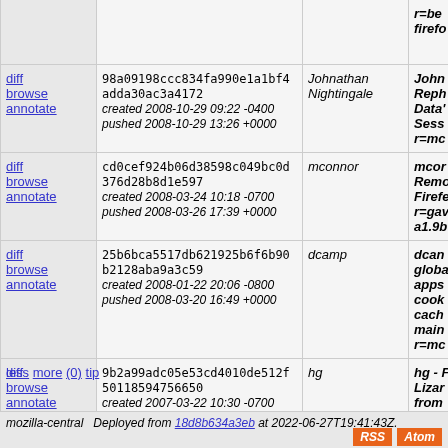| actions | hash/date | author | description |
| --- | --- | --- | --- |
| diff browse annotate | 98a09198ccc834fa990e1a1bf4adda30ac3a4172
created 2008-10-29 09:22 -0400
pushed 2008-10-29 13:26 +0000 | Johnathan Nightingale | John Reph Data' Sess r=mc |
| diff browse annotate | cd0cef924b06d38598c049bc0d376d28b8d1e597
created 2008-03-24 10:18 -0700
pushed 2008-03-26 17:39 +0000 | mconnor | mcor Remo Firefe r=gav a1.9b |
| diff browse annotate | 25b6bca5517db621925b6f6b90b2128aba9a3c59
created 2008-01-22 20:06 -0800
pushed 2008-03-20 16:49 +0000 | dcamp | dcan globa apps cook cach main r=mc |
| diff browse annotate | 9b2a99adc05e53cd4010de512f50118594756650
created 2007-03-22 10:30 -0700
pushed 2008-03-20 16:49 +0000 | hg | hg - F Lizar from tag HG_F at 22 |
less more (0) tip
mozilla-central Deployed from 18d8b634a3eb at 2022-06-27T19:41:43Z.